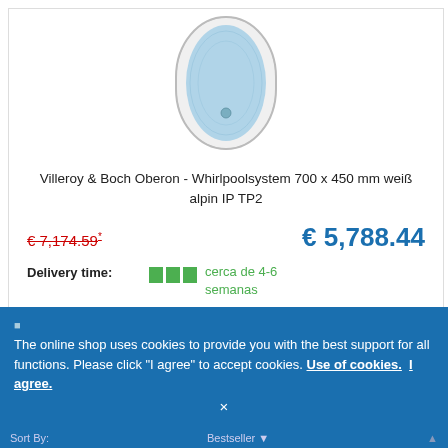[Figure (photo): Product photo of Villeroy & Boch Oberon whirlpool bathtub, oval shape, light blue, top-down view]
Villeroy & Boch Oberon - Whirlpoolsystem 700 x 450 mm weiß alpin IP TP2
€ 7,174.59* (old/crossed-out price) and € 5,788.44 (current price)
Delivery time: cerca de 4-6 semanas
Article no.: UIP177OBE2A2V01
ADD TO CART
The online shop uses cookies to provide you with the best support for all functions. Please click "I agree" to accept cookies. Use of cookies. I agree.